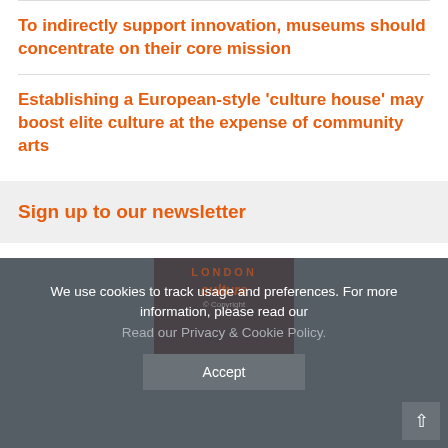To indirectly support innovation, museums should concentrate on their core mission
Establishing a European-style 'culture house' may boost elite culture at the expense of community arts
Sign up to our newsletter
We use cookies to track usage and preferences. For more information, please read our
Read our Privacy & Cookie Policy.
Accept